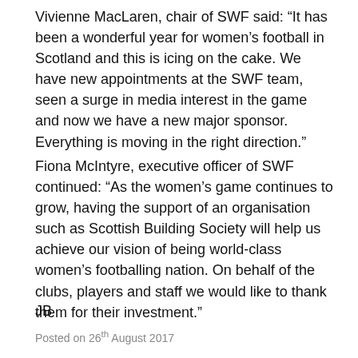Vivienne MacLaren, chair of SWF said: “It has been a wonderful year for women’s football in Scotland and this is icing on the cake. We have new appointments at the SWF team, seen a surge in media interest in the game and now we have a new major sponsor. Everything is moving in the right direction.”
Fiona McIntyre, executive officer of SWF continued: “As the women’s game continues to grow, having the support of an organisation such as Scottish Building Society will help us achieve our vision of being world-class women’s footballing nation. On behalf of the clubs, players and staff we would like to thank them for their investment.”
JB
Posted on 26th August 2017